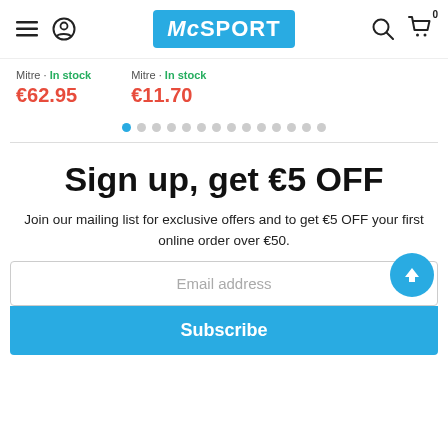McSPORT navigation header with hamburger menu, user icon, McSPORT logo, search icon, and cart icon with badge 0
Mitre · In stock €62.95
Mitre · In stock €11.70
[Figure (other): Carousel pagination dots — 14 dots with first dot highlighted in blue]
Sign up, get €5 OFF
Join our mailing list for exclusive offers and to get €5 OFF your first online order over €50.
Email address
Subscribe